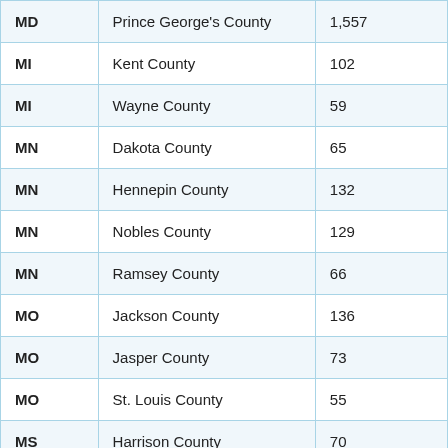| MD | Prince George's County | 1,557 |
| MI | Kent County | 102 |
| MI | Wayne County | 59 |
| MN | Dakota County | 65 |
| MN | Hennepin County | 132 |
| MN | Nobles County | 129 |
| MN | Ramsey County | 66 |
| MO | Jackson County | 136 |
| MO | Jasper County | 73 |
| MO | St. Louis County | 55 |
| MS | Harrison County | 70 |